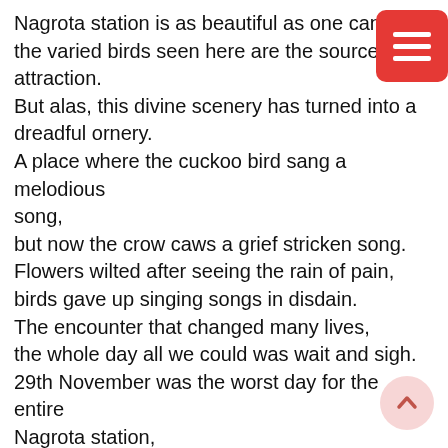Nagrota station is as beautiful as one can im the varied birds seen here are the source of attraction.
But alas, this divine scenery has turned into a dreadful ornery.
A place where the cuckoo bird sang a melodious song,
but now the crow caws a grief stricken song.
Flowers wilted after seeing the rain of pain,
birds gave up singing songs in disdain.
The encounter that changed many lives,
the whole day all we could was wait and sigh.
29th November was the worst day for the entire Nagrota station,
when the family members of the soldiers panicked with tension.
Our soldiers were so selfless, so brave,
for hundreds of families they saved.
But not all endings are a happy one...
[Figure (other): Red hamburger menu button in top right corner]
[Figure (other): Scroll-to-top button (light red/pink circle with upward arrow) in bottom right corner]